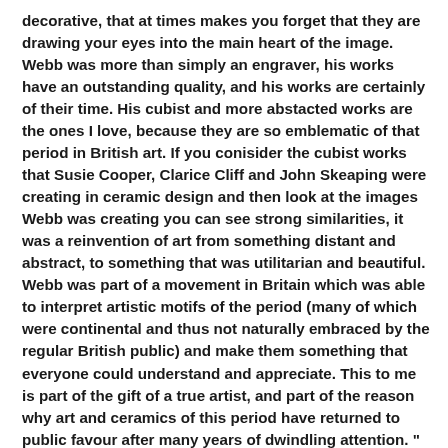decorative, that at times makes you forget that they are drawing your eyes into the main heart of the image. Webb was more than simply an engraver, his works have an outstanding quality, and his works are certainly of their time. His cubist and more abstacted works are the ones I love, because they are so emblematic of that period in British art. If you conisider the cubist works that Susie Cooper, Clarice Cliff and John Skeaping were creating in ceramic design and then look at the images Webb was creating you can see strong similarities, it was a reinvention of art from something distant and abstract, to something that was utilitarian and beautiful. Webb was part of a movement in Britain which was able to interpret artistic motifs of the period (many of which were continental and thus not naturally embraced by the regular British public) and make them something that everyone could understand and appreciate. This to me is part of the gift of a true artist, and part of the reason why art and ceramics of this period have returned to public favour after many years of dwindling attention. "